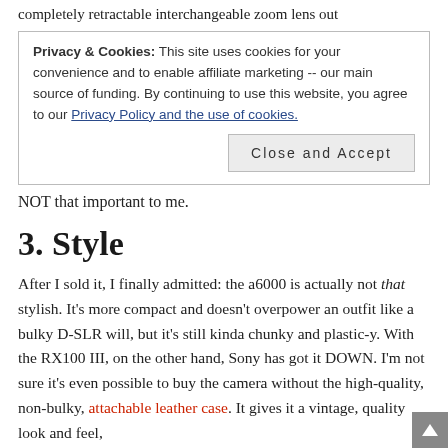completely retractable interchangeable zoom lens out
Privacy & Cookies: This site uses cookies for your convenience and to enable affiliate marketing -- our main source of funding. By continuing to use this website, you agree to our Privacy Policy and the use of cookies.
Close and Accept
NOT that important to me.
3. Style
After I sold it, I finally admitted: the a6000 is actually not that stylish. It’s more compact and doesn’t overpower an outfit like a bulky D-SLR will, but it’s still kinda chunky and plastic-y. With the RX100 III, on the other hand, Sony has got it DOWN. I’m not sure it’s even possible to buy the camera without the high-quality, non-bulky, attachable leather case. It gives it a vintage, quality look and feel,